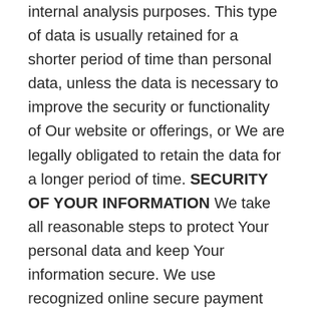internal analysis purposes. This type of data is usually retained for a shorter period of time than personal data, unless the data is necessary to improve the security or functionality of Our website or offerings, or We are legally obligated to retain the data for a longer period of time. SECURITY OF YOUR INFORMATION We take all reasonable steps to protect Your personal data and keep Your information secure. We use recognized online secure payment systems and implement generally accepted standards of security to protect against personal data loss or misuse. However, no security
measure is foolproof, and no method of data transmission can be guaranteed